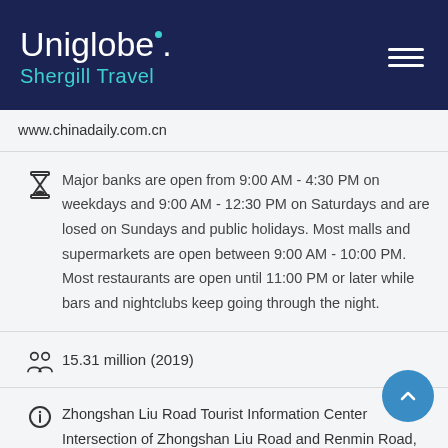Uniglobe. Shergill Travel
www.chinadaily.com.cn
Major banks are open from 9:00 AM - 4:30 PM on weekdays and 9:00 AM - 12:30 PM on Saturdays and are losed on Sundays and public holidays. Most malls and supermarkets are open between 9:00 AM - 10:00 PM. Most restaurants are open until 11:00 PM or later while bars and nightclubs keep going through the night.
15.31 million (2019)
Zhongshan Liu Road Tourist Information Center Intersection of Zhongshan Liu Road and Renmin Road, Yuexiu District